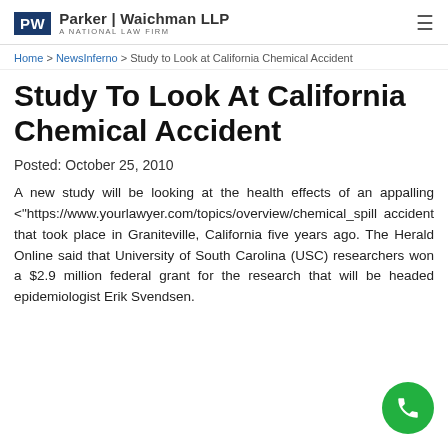Parker | Waichman LLP — A NATIONAL LAW FIRM
Home > NewsInferno > Study to Look at California Chemical Accident
Study To Look At California Chemical Accident
Posted: October 25, 2010
A new study will be looking at the health effects of an appalling <"https://www.yourlawyer.com/topics/overview/chemical_spill accident that took place in Graniteville, California five years ago. The Herald Online said that University of South Carolina (USC) researchers won a $2.9 million federal grant for the research that will be headed epidemiologist Erik Svendsen.